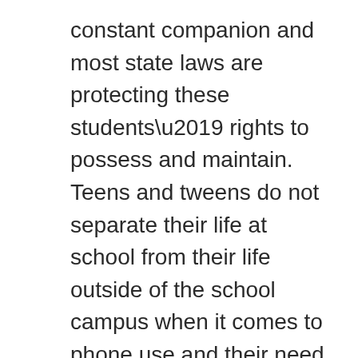constant companion and most state laws are protecting these students' rights to possess and maintain. Teens and tweens do not separate their life at school from their life outside of the school campus when it comes to phone use and their need to communicate. And for schools to declare, "cell phones are not allowed to be used during school hours" will only result in uncountable violations that must be addressed.